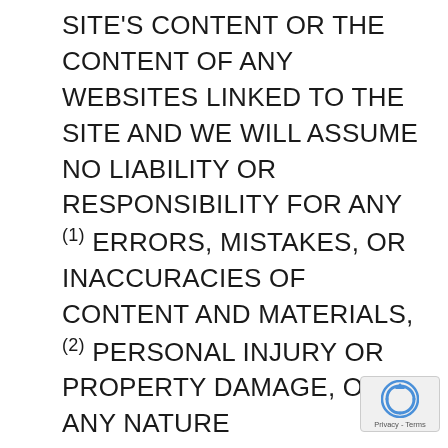SITE'S CONTENT OR THE CONTENT OF ANY WEBSITES LINKED TO THE SITE AND WE WILL ASSUME NO LIABILITY OR RESPONSIBILITY FOR ANY (1) ERRORS, MISTAKES, OR INACCURACIES OF CONTENT AND MATERIALS, (2) PERSONAL INJURY OR PROPERTY DAMAGE, OF ANY NATURE WHATSOEVER, RESULTING FROM YOUR ACCESS TO AND USE OF THE SITE, (3) ANY UNAUTHORIZED ACCESS TO OR USE OF OUR SECURE SERVERS AND/OR ANY AND ALL PERSONAL INFORMATION AND/OR FINANCIAL INFORMATION STORED THEREIN, (4) ANY INTERRUPTION OR CESSATION OF TRANSMISSION TO OR FROM THE SITE, (5) ANY BUGS, VIRUSES, TROJAN HORSES, OR
[Figure (logo): reCAPTCHA badge with rotating arrow logo and Privacy - Terms text]